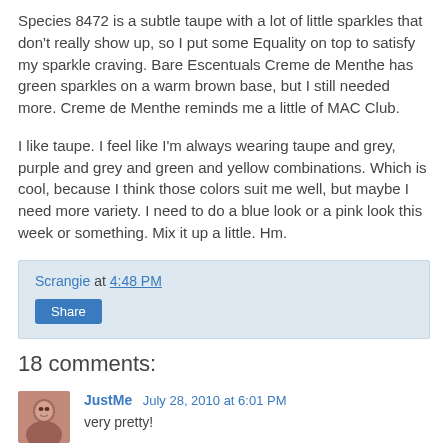Species 8472 is a subtle taupe with a lot of little sparkles that don't really show up, so I put some Equality on top to satisfy my sparkle craving. Bare Escentuals Creme de Menthe has green sparkles on a warm brown base, but I still needed more. Creme de Menthe reminds me a little of MAC Club.
I like taupe. I feel like I'm always wearing taupe and grey, purple and grey and green and yellow combinations. Which is cool, because I think those colors suit me well, but maybe I need more variety. I need to do a blue look or a pink look this week or something. Mix it up a little. Hm.
Scrangie at 4:48 PM | Share
18 comments:
JustMe July 28, 2010 at 6:01 PM
very pretty!